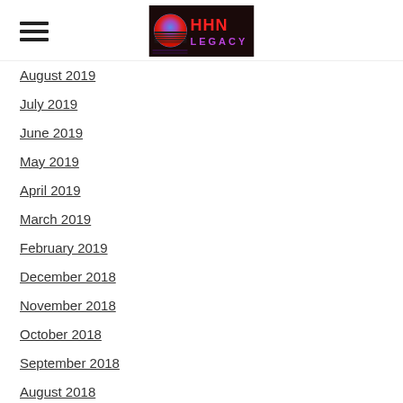HHN Legacy (logo)
August 2019
July 2019
June 2019
May 2019
April 2019
March 2019
February 2019
December 2018
November 2018
October 2018
September 2018
August 2018
July 2018
June 2018
May 2018